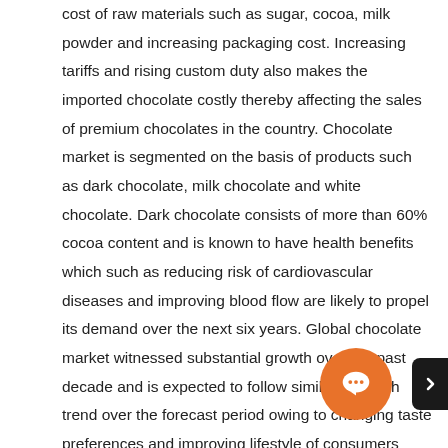cost of raw materials such as sugar, cocoa, milk powder and increasing packaging cost. Increasing tariffs and rising custom duty also makes the imported chocolate costly thereby affecting the sales of premium chocolates in the country. Chocolate market is segmented on the basis of products such as dark chocolate, milk chocolate and white chocolate. Dark chocolate consists of more than 60% cocoa content and is known to have health benefits which such as reducing risk of cardiovascular diseases and improving blood flow are likely to propel its demand over the next six years. Global chocolate market witnessed substantial growth over the past decade and is expected to follow similar a growth trend over the forecast period owing to changing taste preferences and improving lifestyle of consumers especially in the Asia Pacific region. One of the most consumed and popular food product among consumers across the globe is chocolate. Based on the amount of cocoa employed during preparation, different varieties of chocolates are produced globally. As the global chocolate market is highly driven